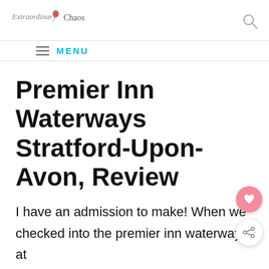ExtraordinaryChaos logo and search icon
MENU
Premier Inn Waterways Stratford-Upon-Avon, Review
I have an admission to make! When we checked into the premier inn waterways at